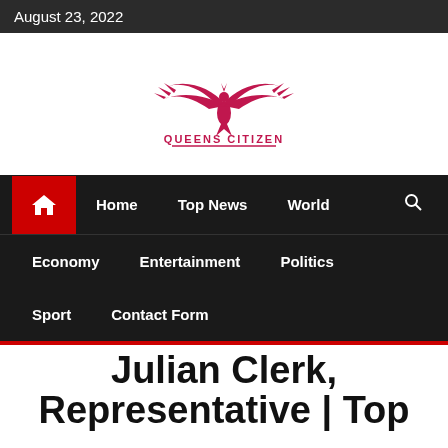August 23, 2022
[Figure (logo): Queens Citizen logo — a crimson phoenix/bird with spread wings above the text QUEENS CITIZEN in crimson uppercase letters with a decorative underline]
Home | Top News | World | Economy | Entertainment | Politics | Sport | Contact Form
Julian Clerk, Representative | Top